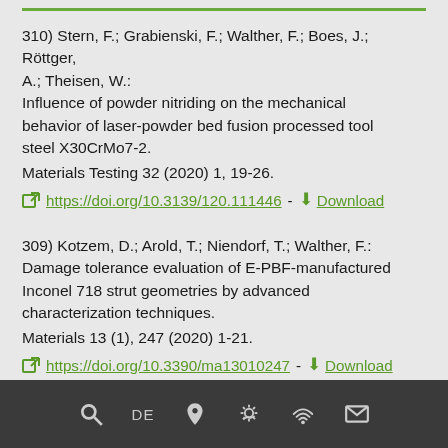310) Stern, F.; Grabienski, F.; Walther, F.; Boes, J.; Röttger, A.; Theisen, W.: Influence of powder nitriding on the mechanical behavior of laser-powder bed fusion processed tool steel X30CrMo7-2. Materials Testing 32 (2020) 1, 19-26. https://doi.org/10.3139/120.111446 - Download
309) Kotzem, D.; Arold, T.; Niendorf, T.; Walther, F.: Damage tolerance evaluation of E-PBF-manufactured Inconel 718 strut geometries by advanced characterization techniques. Materials 13 (1), 247 (2020) 1-21. https://doi.org/10.3390/ma13010247 - Download
Search | DE | Location | Weather | WiFi | Mail